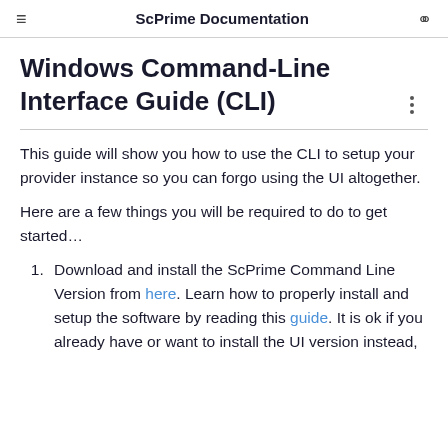ScPrime Documentation
Windows Command-Line Interface Guide (CLI)
This guide will show you how to use the CLI to setup your provider instance so you can forgo using the UI altogether.
Here are a few things you will be required to do to get started…
Download and install the ScPrime Command Line Version from here. Learn how to properly install and setup the software by reading this guide. It is ok if you already have or want to install the UI version instead,